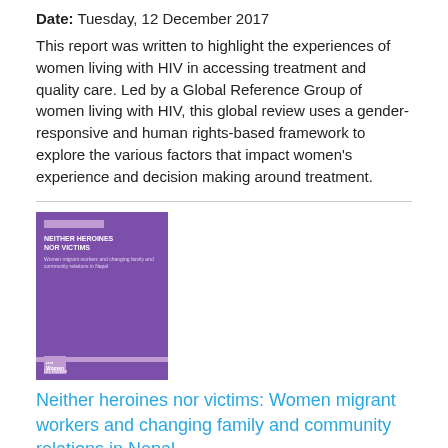Date: Tuesday, 12 December 2017
This report was written to highlight the experiences of women living with HIV in accessing treatment and quality care. Led by a Global Reference Group of women living with HIV, this global review uses a gender-responsive and human rights-based framework to explore the various factors that impact women's experience and decision making around treatment.
[Figure (photo): Book cover with purple background titled 'Neither heroines nor victims: Women migrant workers and changing family and community relations in Nepal']
Neither heroines nor victims: Women migrant workers and changing family and community relations in Nepal
Date: Tuesday, 31 October 2017
This paper examines case studies of returnee women migrant workers in Nepal to look specifically at the narratives emerging from the voices of women migrant workers. It aims to give voice to the subjectivities of migrant women in Nepal, unpacking their